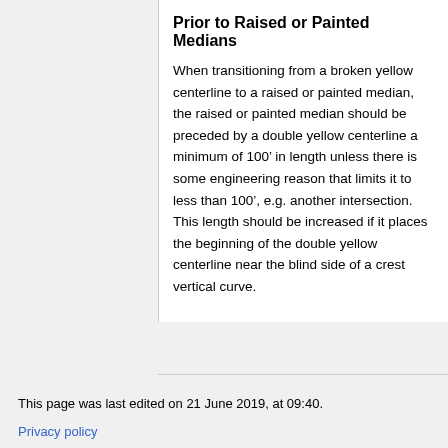Prior to Raised or Painted Medians
When transitioning from a broken yellow centerline to a raised or painted median, the raised or painted median should be preceded by a double yellow centerline a minimum of 100’ in length unless there is some engineering reason that limits it to less than 100’, e.g. another intersection. This length should be increased if it places the beginning of the double yellow centerline near the blind side of a crest vertical curve.
This page was last edited on 21 June 2019, at 09:40.
Privacy policy
About PPM Wiki - City of Overland Park
Projects and Procedures Manual Pages